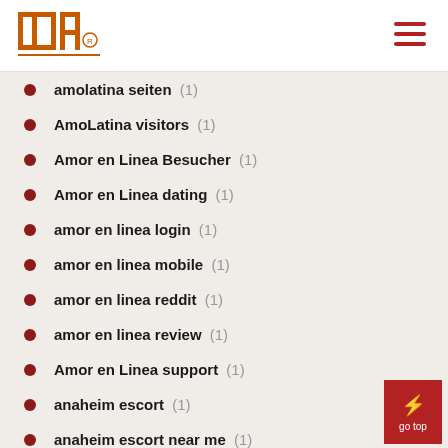INP logo and navigation
amolatina seiten (1)
AmoLatina visitors (1)
Amor en Linea Besucher (1)
Amor en Linea dating (1)
amor en linea login (1)
amor en linea mobile (1)
amor en linea reddit (1)
amor en linea review (1)
Amor en Linea support (1)
anaheim escort (1)
anaheim escort near me (1)